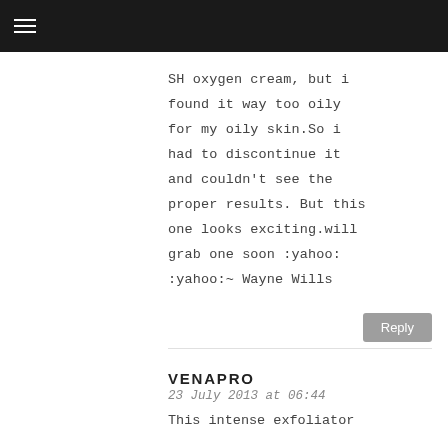≡
SH oxygen cream, but i found it way too oily for my oily skin.So i had to discontinue it and couldn't see the proper results. But this one looks exciting.will grab one soon :yahoo: :yahoo:~ Wayne Wills
Reply
VENAPRO
23 July 2013 at 06:44
This intense exfoliator